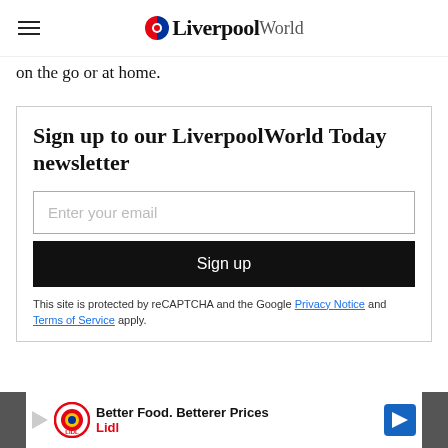LiverpoolWorld
on the go or at home.
Sign up to our LiverpoolWorld Today newsletter
Enter your email
Sign up
This site is protected by reCAPTCHA and the Google Privacy Notice and Terms of Service apply.
[Figure (other): Lidl advertisement banner: Better Food. Betterer Prices — Lidl]